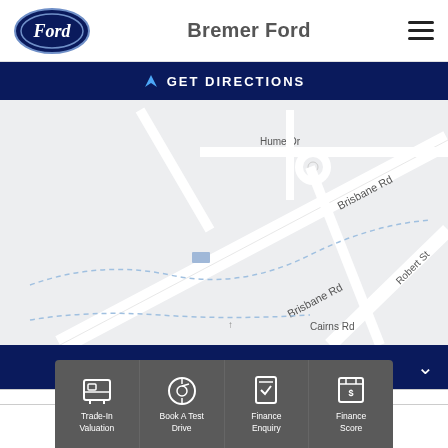[Figure (logo): Ford oval logo, dark navy blue with white script 'Ford' text]
Bremer Ford
[Figure (screenshot): A map showing street layout around Brisbane Rd, Robert St, Hume Dr, and Cairns Rd with light grey roads on light background]
GET DIRECTIONS
CO ... ;
[Figure (infographic): Bottom icon bar with four items: Trade-In Valuation, Book A Test Drive, Finance Enquiry, Finance Score icons on dark grey background]